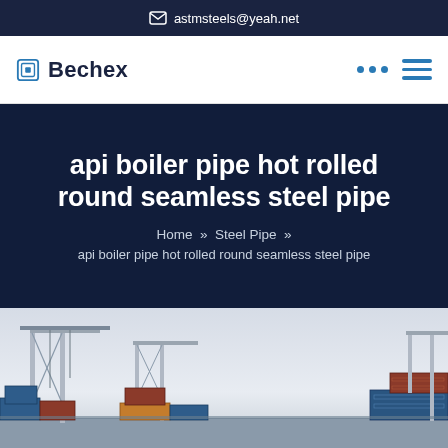astmsteels@yeah.net
Bechex
api boiler pipe hot rolled round seamless steel pipe
Home » Steel Pipe » api boiler pipe hot rolled round seamless steel pipe
[Figure (photo): Industrial port scene with cranes, shipping containers and steel products]